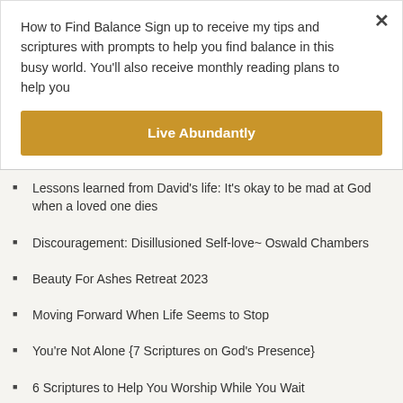How to Find Balance Sign up to receive my tips and scriptures with prompts to help you find balance in this busy world. You'll also receive monthly reading plans to help you
Live Abundantly
Lessons learned from David's life: It's okay to be mad at God when a loved one dies
Discouragement: Disillusioned Self-love~ Oswald Chambers
Beauty For Ashes Retreat 2023
Moving Forward When Life Seems to Stop
You're Not Alone {7 Scriptures on God's Presence}
6 Scriptures to Help You Worship While You Wait